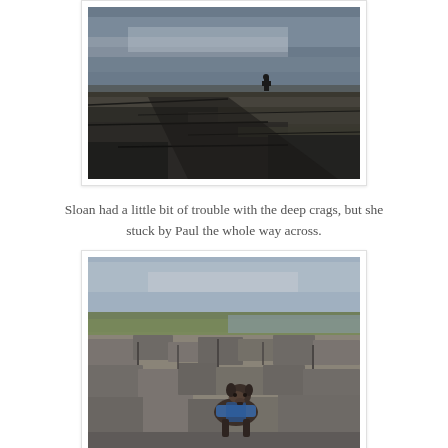[Figure (photo): A person walking on rocky limestone terrain (crags) under a dramatic cloudy sky, viewed from behind at a distance.]
Sloan had a little bit of trouble with the deep crags, but she stuck by Paul the whole way across.
[Figure (photo): A small dog wearing a blue harness/jacket standing on rocky limestone terrain, with green hills and sea visible in the background.]
Max, on the other hand, quit. In his defense, prior to this shot he had two falls, one of which sent three of his legs